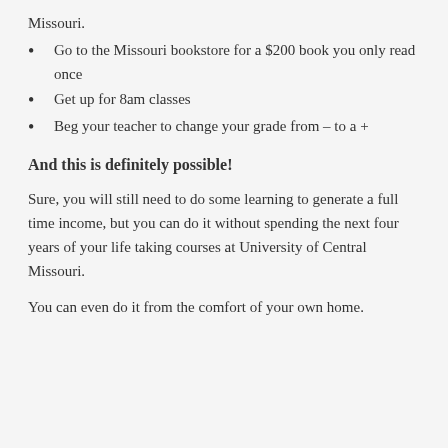Missouri.
Go to the Missouri bookstore for a $200 book you only read once
Get up for 8am classes
Beg your teacher to change your grade from – to a +
And this is definitely possible!
Sure, you will still need to do some learning to generate a full time income, but you can do it without spending the next four years of your life taking courses at University of Central Missouri.
You can even do it from the comfort of your own home.